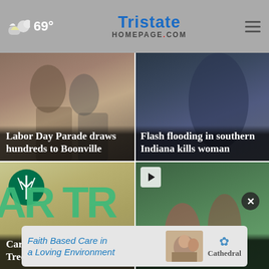69° TristateHomepage.com
[Figure (photo): Labor Day Parade photo with caption: Labor Day Parade draws hundreds to Boonville]
[Figure (photo): Flash flooding photo with caption: Flash flooding in southern Indiana kills woman]
[Figure (photo): Car crashes into... photo showing green AR TR sign letters]
[Figure (photo): USI students Day at the Lake video thumbnail with play button]
[Figure (photo): Advertisement banner: Faith Based Care in a Loving Environment - Cathedral]